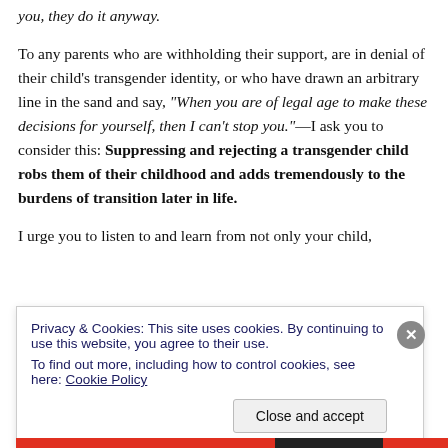you, they do it anyway.

To any parents who are withholding their support, are in denial of their child's transgender identity, or who have drawn an arbitrary line in the sand and say, "When you are of legal age to make these decisions for yourself, then I can't stop you."—I ask you to consider this: Suppressing and rejecting a transgender child robs them of their childhood and adds tremendously to the burdens of transition later in life.

I urge you to listen to and learn from not only your child,
Privacy & Cookies: This site uses cookies. By continuing to use this website, you agree to their use.
To find out more, including how to control cookies, see here: Cookie Policy